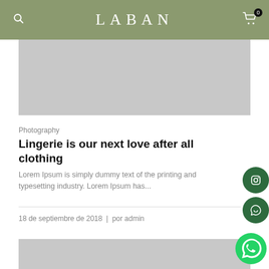LABAN
[Figure (photo): Gray placeholder image at top of blog post]
Photography
Lingerie is our next love after all clothing
Lorem Ipsum is simply dummy text of the printing and typesetting industry. Lorem Ipsum has...
18 de septiembre de 2018  |  por admin
[Figure (photo): Gray placeholder image at bottom of page]